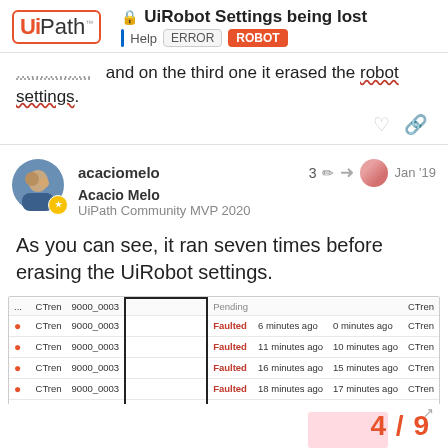UiPath - UiRobot Settings being lost | Help | ERROR | ROBOT
and on the third one it erased the robot settings.
acaciomelo
Acacio Melo
UiPath Community MVP 2020
Jan '19
As you can see, it ran seven times before erasing the UiRobot settings.
| ... | CTren | 9000_0003 |  | Pending/Faulted |  |  | CTren |
| --- | --- | --- | --- | --- | --- | --- | --- |
| ... | CTren | 9000_0003 |  | Pending |  |  | CTren |
| ● | CTren | 9000_0003 |  | Faulted | 6 minutes ago | 0 minutes ago | CTren |
| ● | CTren | 9000_0003 |  | Faulted | 11 minutes ago | 10 minutes ago | CTren |
| ● | CTren | 9000_0003 |  | Faulted | 16 minutes ago | 15 minutes ago | CTren |
| ● | CTren | 9000_0003 |  | Faulted | 18 minutes ago | 17 minutes ago | CTren |
| ● | CTren | 9000_0003 |  | Faulted | 38 minutes ago | 19 minutes ago | CTren |
| ● | CTren | 9000_0003 |  | Faulted | 30 minutes ago | 30 minutes ago | CTren |
| ● | CTren | 9000_0003 |  | Faulted | 41 minutes... |  |  |
4 / 9